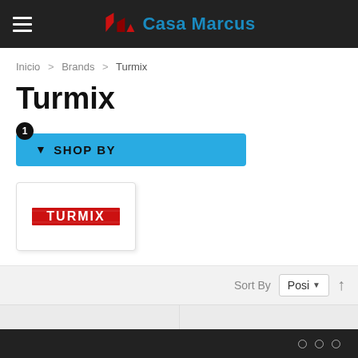Casa Marcus — navigation header
Inicio > Brands > Turmix
Turmix
❶ SHOP BY (filter button)
[Figure (logo): Turmix brand logo — red text reading TURMIX with bold styling and red border]
Sort By  Posi ▲
○ ○ ○ (bottom navigation dots)